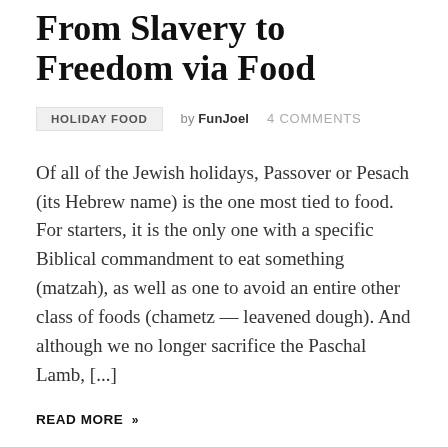From Slavery to Freedom via Food
HOLIDAY FOOD  by FunJoel  4 COMMENTS
Of all of the Jewish holidays, Passover or Pesach (its Hebrew name) is the one most tied to food. For starters, it is the only one with a specific Biblical commandment to eat something (matzah), as well as one to avoid an entire other class of foods (chametz — leavened dough). And although we no longer sacrifice the Paschal Lamb, [...]
READ MORE »